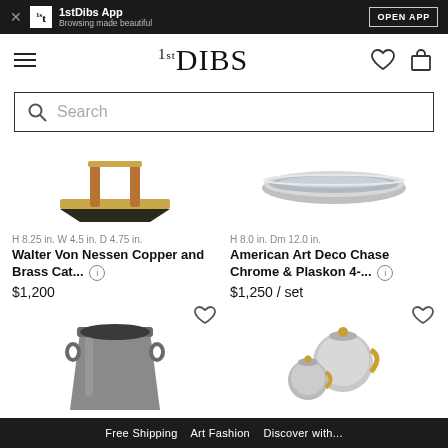1stDibs App — Browsing made beautiful — OPEN APP
1stDIBS navigation bar with search
H 8.25 in. W 4.5 in. D 4.75 in.
Walter Von Nessen Copper and Brass Cat...
$1,200
H 8.0 in. Dm 12.0 in.
American Art Deco Chase Chrome & Plaskon 4-...
$1,250 / set
Free Shipping    Art Fashion    Discover with...